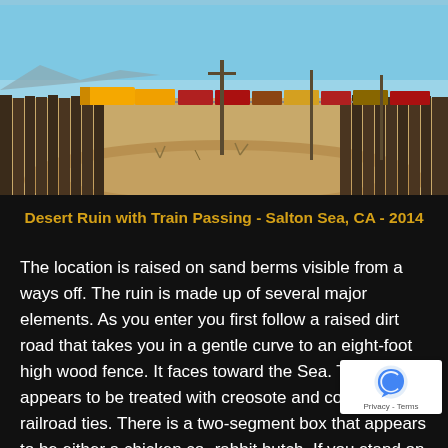[Figure (photo): Desert landscape photo showing a train passing in the background with yellow Union Pacific locomotives pulling freight cars. In the foreground is a raised dirt area and an eight-foot high weathered dark wood fence (possibly railroad ties) running along both sides. Blue sky and mountains visible in far background. Salton Sea, CA, 2014.]
Desert Ruin with Train Passing - Salton Sea, CA - 2014
The location is raised on sand berms visible from a ways off. The ruin is made up of several major elements. As you enter you first follow a raised dirt road that takes you in a gentle curve to an eight-foot high wood fence. It faces toward the Sea. The wood appears to be treated with creosote and could be railroad ties. There is a two-segment box that appears to be either a chicken co- rabbit hutch. If you stand on the roof you can boost your